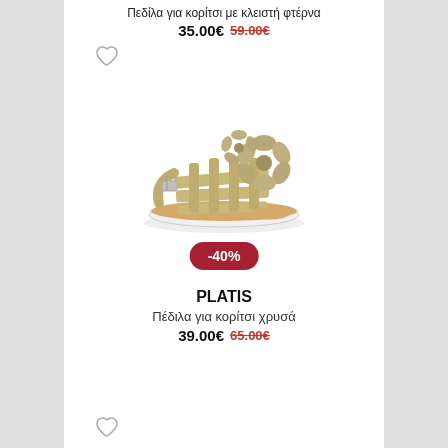Πεδίλα για κορίτσι με κλειστή φτέρνα
35.00€ 59.00€
[Figure (photo): Gold strappy sandal for girls with flower embellishment and buckle, white sole, shown from the side.]
-40%
PLATIS
Πέδιλα για κορίτσι χρυσά
39.00€ 65.00€